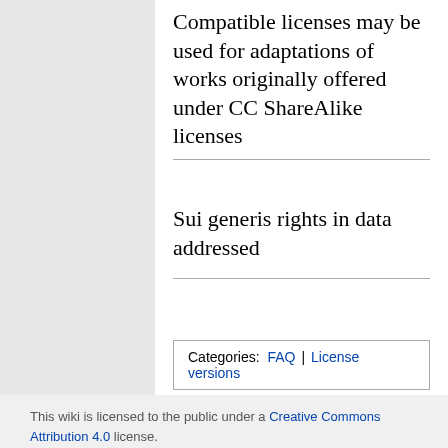Compatible licenses may be used for adaptations of works originally offered under CC ShareAlike licenses
Sui generis rights in data addressed
| Categories: | FAQ | License versions |
| --- | --- | --- |
This wiki is licensed to the public under a Creative Commons Attribution 4.0 license. Your use of this wiki is governed by the Terms of Use.
Privacy policy   About Creative Commons
Disclaimers
[Figure (logo): Creative Commons BY license badge and MediaWiki powered by badge]